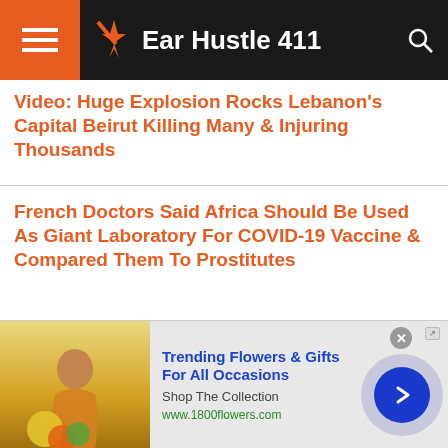Ear Hustle 411
Video: Huge Explosion Rocks Lebanon's Capital Beirut Killing Many & Injuring Thousands
French Doctors Said Africa Should Be Used As Giant Laboratory For COVID-19 Vaccine & Compared Them To Prostitutes
[Figure (photo): Green-tinted photo of a rapper performing]
New Video: Chicago's Youngest In Charge, Rapper and Lyrical Assassin " CB SoCold" Releases New Video “Slime”
[Figure (photo): Advertisement image showing a woman holding sunflowers]
Trending Flowers & Gifts For All Occasions
Shop The Collection
www.1800flowers.com